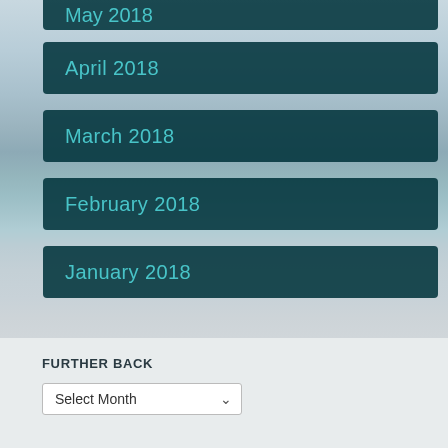[Figure (photo): Beach scene with ocean waves and overcast sky in muted blue-grey tones, used as background]
May 2018
April 2018
March 2018
February 2018
January 2018
FURTHER BACK
Select Month